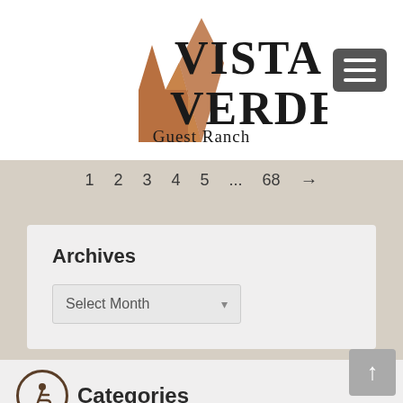[Figure (logo): Vista Verde Guest Ranch logo with brown mountain/building silhouette and bold serif text]
[Figure (other): Dark gray hamburger menu button with three white horizontal lines]
1  2  3  4  5  ...  68  →
Archives
Select Month  ▾
Categories